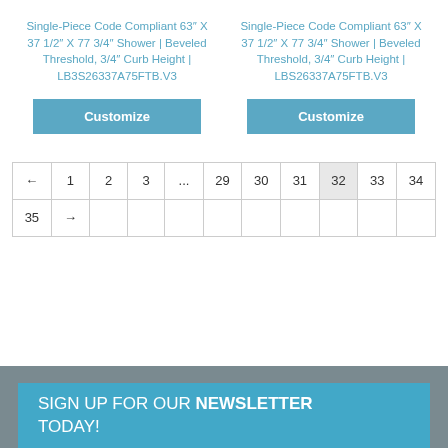Single-Piece Code Compliant 63″ X 37 1/2″ X 77 3/4″ Shower | Beveled Threshold, 3/4″ Curb Height | LB3S26337A75FTB.V3
Single-Piece Code Compliant 63″ X 37 1/2″ X 77 3/4″ Shower | Beveled Threshold, 3/4″ Curb Height | LBS26337A75FTB.V3
Customize
Customize
| ← | 1 | 2 | 3 | ... | 29 | 30 | 31 | 32 | 33 | 34 |
| 35 | → |  |  |  |  |  |  |  |  |  |
SIGN UP FOR OUR NEWSLETTER TODAY!